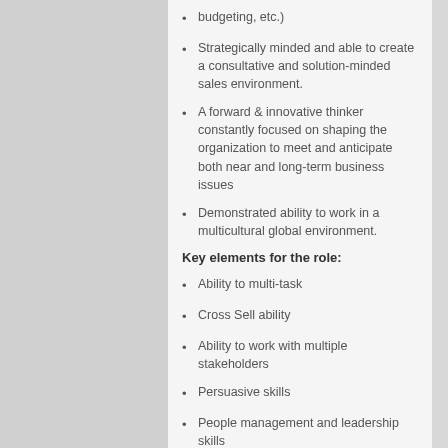budgeting, etc.)
Strategically minded and able to create a consultative and solution-minded sales environment.
A forward & innovative thinker constantly focused on shaping the organization to meet and anticipate both near and long-term business issues
Demonstrated ability to work in a multicultural global environment.
Key elements for the role:
Ability to multi-task
Cross Sell ability
Ability to work with multiple stakeholders
Persuasive skills
People management and leadership skills
Industry focus approach
Relationship management
Dedicated to achieving business results